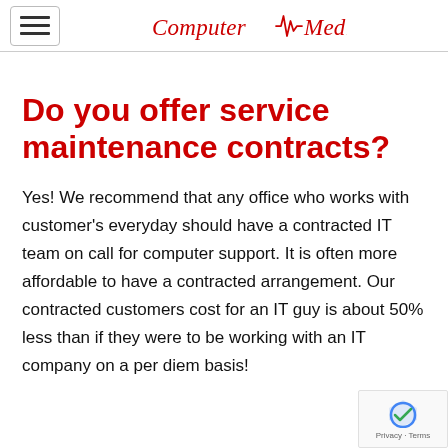Computer Medic
Do you offer service maintenance contracts?
Yes! We recommend that any office who works with customer's everyday should have a contracted IT team on call for computer support. It is often more affordable to have a contracted arrangement. Our contracted customers cost for an IT guy is about 50% less than if they were to be working with an IT company on a per diem basis!